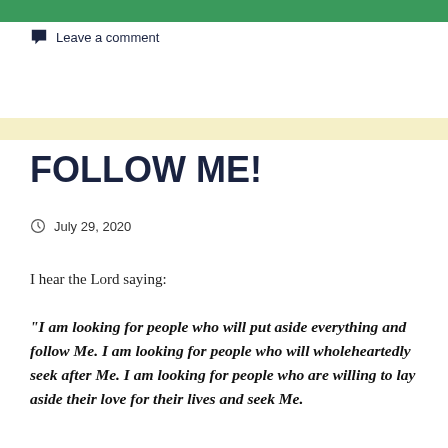[Figure (illustration): Green textured banner at top of page]
Leave a comment
[Figure (illustration): Light yellow horizontal bar divider]
FOLLOW ME!
July 29, 2020
I hear the Lord saying:
“I am looking for people who will put aside everything and follow Me. I am looking for people who will wholeheartedly seek after Me. I am looking for people who are willing to lay aside their love for their lives and seek Me.